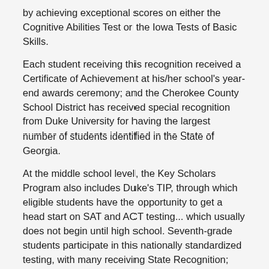by achieving exceptional scores on either the Cognitive Abilities Test or the Iowa Tests of Basic Skills.
Each student receiving this recognition received a Certificate of Achievement at his/her school's year-end awards ceremony; and the Cherokee County School District has received special recognition from Duke University for having the largest number of students identified in the State of Georgia.
At the middle school level, the Key Scholars Program also includes Duke's TIP, through which eligible students have the opportunity to get a head start on SAT and ACT testing... which usually does not begin until high school. Seventh-grade students participate in this nationally standardized testing, with many receiving State Recognition; and they are also recognized at a School Board meeting and at a special Duke University ceremony in Atlanta.
For high school students, the Key Scholar Program focuses on the Preliminary SAT (or PSAT). Freshmen scoring at the 80th percentile or above on the PSAT receive a Certificate of Achievement at their school's year-end awards ceremonies. Sophomores scoring at the 85th percentile or above on the PSAT receive a Certificate of Achievement at their school's